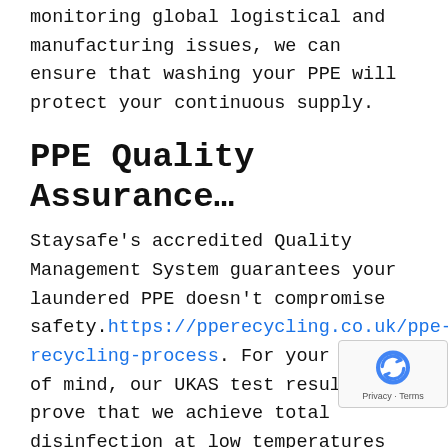monitoring global logistical and manufacturing issues, we can ensure that washing your PPE will protect your continuous supply.
PPE Quality Assurance…
Staysafe's accredited Quality Management System guarantees your laundered PPE doesn't compromise safety. https://pperecycling.co.uk/ppe-recycling-process. For your peace of mind, our UKAS test results prove that we achieve total disinfection at low temperatures which safeguards the integrity of your PPE. Our method is endorsed by the UK's leading glove manufacturers.
PPE Tracking…